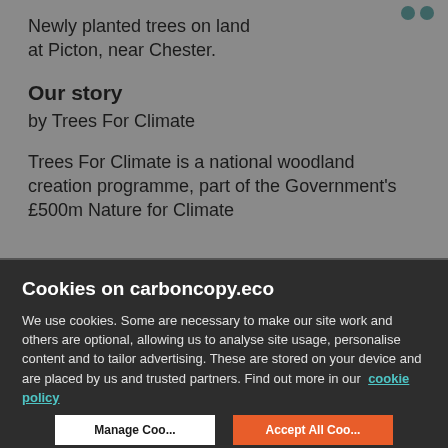Newly planted trees on land at Picton, near Chester.
Our story
by Trees For Climate
Trees For Climate is a national woodland creation programme, part of the Government's £500m Nature for Climate
Cookies on carboncopy.eco
We use cookies. Some are necessary to make our site work and others are optional, allowing us to analyse site usage, personalise content and to tailor advertising. These are stored on your device and are placed by us and trusted partners. Find out more in our cookie policy